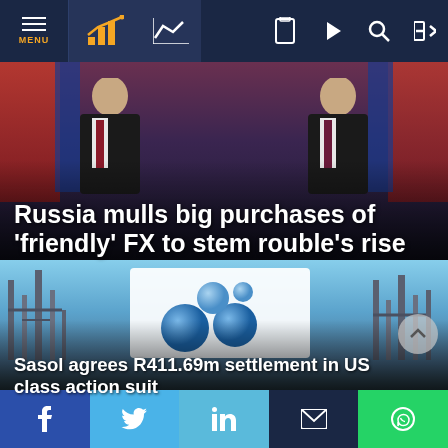MENU | Navigation bar with chart icons and utility icons
[Figure (photo): Two men in dark suits standing in front of red and blue flags, likely political leaders]
Russia mulls big purchases of ‘friendly’ FX to stem rouble’s rise
[Figure (photo): Industrial facility with towers and the Sasol logo (blue spheres) on a white billboard against a blue sky]
Sasol agrees R411.69m settlement in US class action suit
Social sharing bar: Facebook, Twitter, LinkedIn, Email, WhatsApp